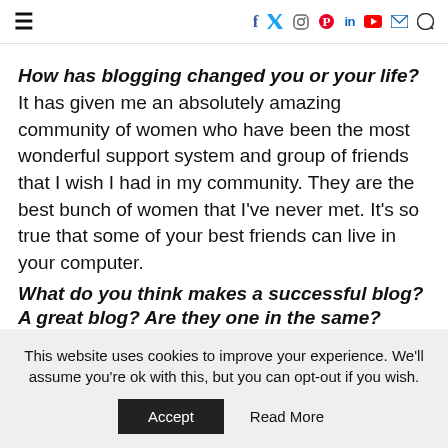≡  f  [twitter]  [instagram]  [pinterest]  in  [youtube]  [email]  [search]
How has blogging changed you or your life?
It has given me an absolutely amazing community of women who have been the most wonderful support system and group of friends that I wish I had in my community. They are the best bunch of women that I've never met. It's so true that some of your best friends can live in your computer.
What do you think makes a successful blog? A great blog? Are they one in the same?
They are definitely similar but not necessarily the
This website uses cookies to improve your experience. We'll assume you're ok with this, but you can opt-out if you wish.
Accept   Read More